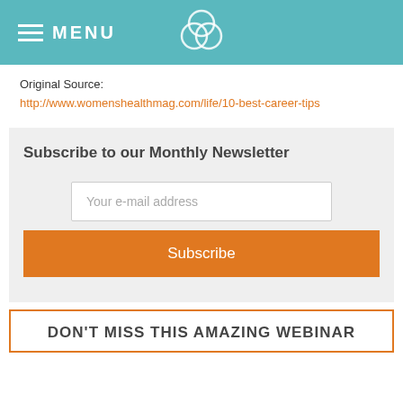MENU
Original Source:
http://www.womenshealthmag.com/life/10-best-career-tips
Subscribe to our Monthly Newsletter
Your e-mail address
Subscribe
DON'T MISS THIS AMAZING WEBINAR